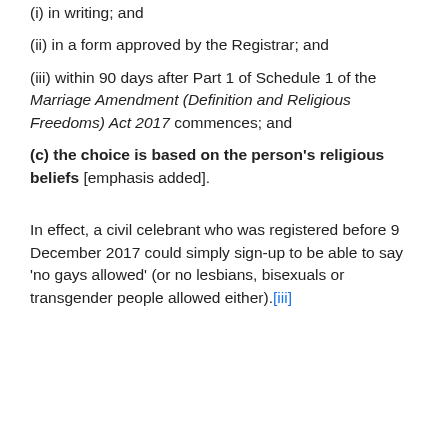(i) in writing; and
(ii) in a form approved by the Registrar; and
(iii) within 90 days after Part 1 of Schedule 1 of the Marriage Amendment (Definition and Religious Freedoms) Act 2017 commences; and
(c) the choice is based on the person’s religious beliefs [emphasis added].
In effect, a civil celebrant who was registered before 9 December 2017 could simply sign-up to be able to say ‘no gays allowed’ (or no lesbians, bisexuals or transgender people allowed either).[iii]